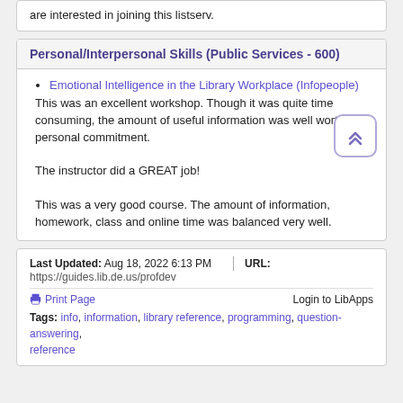are interested in joining this listserv.
Personal/Interpersonal Skills (Public Services - 600)
Emotional Intelligence in the Library Workplace (Infopeople)
This was an excellent workshop. Though it was quite time consuming, the amount of useful information was well worth my personal commitment.

The instructor did a GREAT job!

This was a very good course. The amount of information, homework, class and online time was balanced very well.
Last Updated: Aug 18, 2022 6:13 PM | URL: https://guides.lib.de.us/profdev | Print Page | Login to LibApps | Tags: info, information, library reference, programming, question-answering, reference